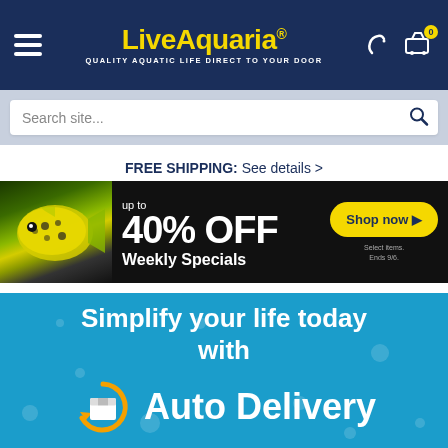[Figure (screenshot): LiveAquaria website header with navy blue background, hamburger menu icon on left, LiveAquaria logo in yellow in center with tagline 'QUALITY AQUATIC LIFE DIRECT TO YOUR DOOR', phone and cart icons on right]
[Figure (screenshot): Search bar with 'Search site...' placeholder text and magnifying glass icon on right, on light blue-gray background]
FREE SHIPPING: See details >
[Figure (infographic): Black banner ad showing yellow tropical fish on left, text 'up to 40% OFF Weekly Specials' in white, yellow 'Shop now' button on right, small text 'Select items. Ends 9/6.']
[Figure (infographic): Blue banner with text 'Simplify your life today with' and 'Auto Delivery' with circular orange arrow icon around a box package icon]